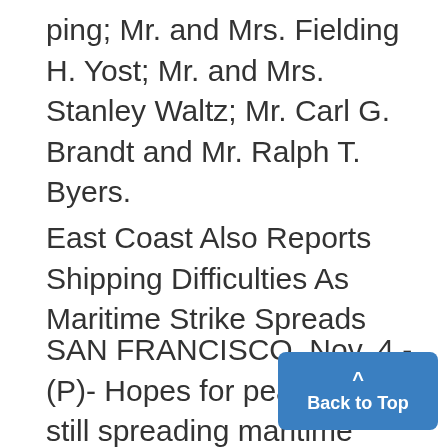ping; Mr. and Mrs. Fielding H. Yost; Mr. and Mrs. Stanley Waltz; Mr. Carl G. Brandt and Mr. Ralph T. Byers.
East Coast Also Reports Shipping Difficulties As Maritime Strike Spreads
SAN FRANCISCO, Nov. 4.-(P)- Hopes for peace in the still spreading maritime strike reached a new low level here today and particularly vulnerable areas manifested increasing concern over prospectvie food shortages.